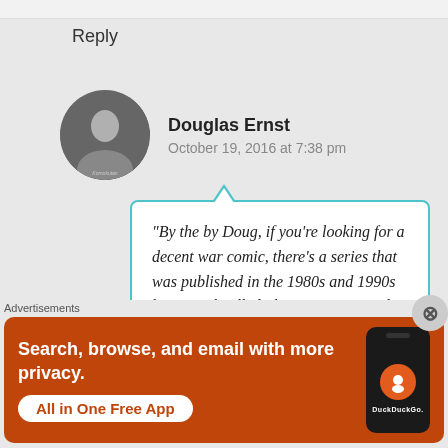Reply
Douglas Ernst
October 19, 2016 at 7:38 pm
“By the by Doug, if you’re looking for a decent war comic, there’s a series that was published in the 1980s and 1990s by Marvel called The ’Nam. I’ve read about 7 issues, and it seems like something you would like.”
Advertisements
[Figure (screenshot): DuckDuckGo advertisement banner: orange background with text 'Search, browse, and email with more privacy. All in One Free App' and a phone showing DuckDuckGo logo]